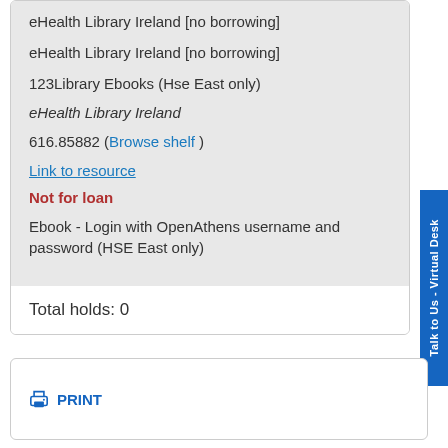eHealth Library Ireland [no borrowing]
eHealth Library Ireland [no borrowing]
123Library Ebooks (Hse East only)
eHealth Library Ireland
616.85882 (Browse shelf )
Link to resource
Not for loan
Ebook - Login with OpenAthens username and password (HSE East only)
Total holds: 0
PRINT